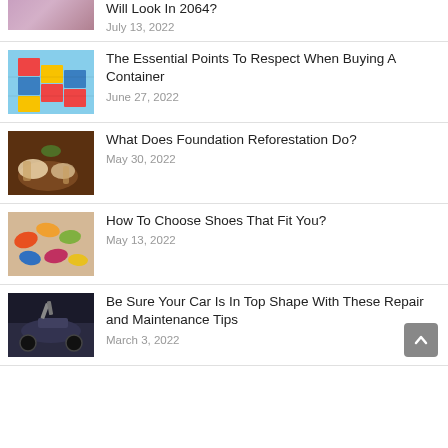[Figure (photo): Partial view of a lifestyle/fashion photo cropped at top]
Will Look In 2064?
July 13, 2022
[Figure (photo): Stacked colorful shipping containers]
The Essential Points To Respect When Buying A Container
June 27, 2022
[Figure (photo): Hands in soil, gardening/reforestation]
What Does Foundation Reforestation Do?
May 30, 2022
[Figure (photo): Colorful shoes laid out on a surface]
How To Choose Shoes That Fit You?
May 13, 2022
[Figure (photo): Person working on a car engine/maintenance]
Be Sure Your Car Is In Top Shape With These Repair and Maintenance Tips
March 3, 2022